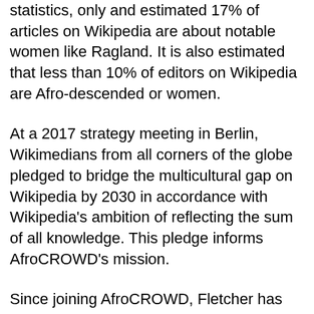statistics, only and estimated 17% of articles on Wikipedia are about notable women like Ragland. It is also estimated that less than 10% of editors on Wikipedia are Afro-descended or women.
At a 2017 strategy meeting in Berlin, Wikimedians from all corners of the globe pledged to bridge the multicultural gap on Wikipedia by 2030 in accordance with Wikipedia's ambition of reflecting the sum of all knowledge. This pledge informs AfroCROWD's mission.
Since joining AfroCROWD, Fletcher has become an active editor, speaking at events with the group about her work and her AfroCROWD experience, and has recently